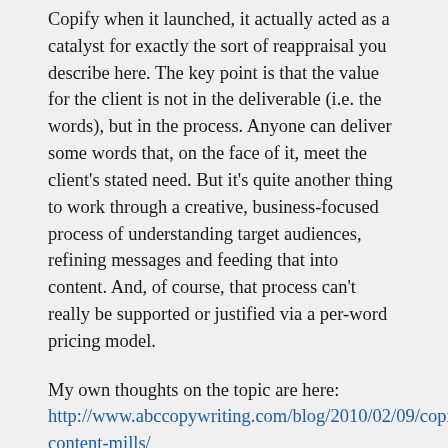Copify when it launched, it actually acted as a catalyst for exactly the sort of reappraisal you describe here. The key point is that the value for the client is not in the deliverable (i.e. the words), but in the process. Anyone can deliver some words that, on the face of it, meet the client's stated need. But it's quite another thing to work through a creative, business-focused process of understanding target audiences, refining messages and feeding that into content. And, of course, that process can't really be supported or justified via a per-word pricing model.
My own thoughts on the topic are here: http://www.abccopywriting.com/blog/2010/02/09/copit-content-mills/
Incidentally, one of the best meals out I ever had was at Terre à Terre in Brighton – not a junk food